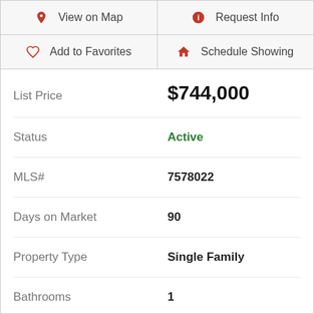| 🗺 View on Map | ℹ Request Info |
| ♡ Add to Favorites | ⌂ Schedule Showing |
| Label | Value |
| --- | --- |
| List Price | $744,000 |
| Status | Active |
| MLS# | 7578022 |
| Days on Market | 90 |
| Property Type | Single Family |
| Bathrooms | 1 |
| Living Area | 560 |
| Lot Size | 1,960,200 |